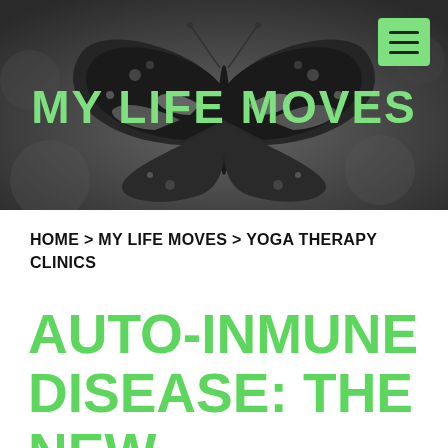[Figure (photo): Black and white close-up photo of a butterfly (painted lady) with wings spread, used as website header background]
MY LIFE MOVES
HOME > MY LIFE MOVES > YOGA THERAPY CLINICS
AUTO-INMUNE DISEASE: THE NEW EPIDEMIC